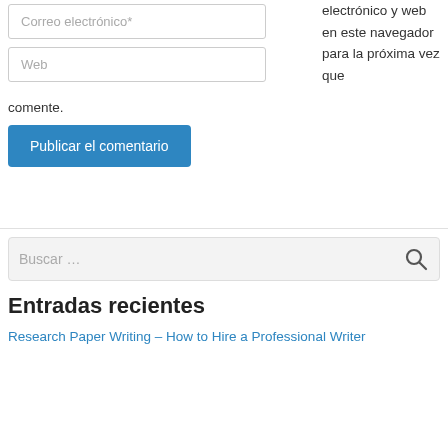Correo electrónico*
Web
electrónico y web en este navegador para la próxima vez que comente.
Publicar el comentario
Buscar …
Entradas recientes
Research Paper Writing – How to Hire a Professional Writer